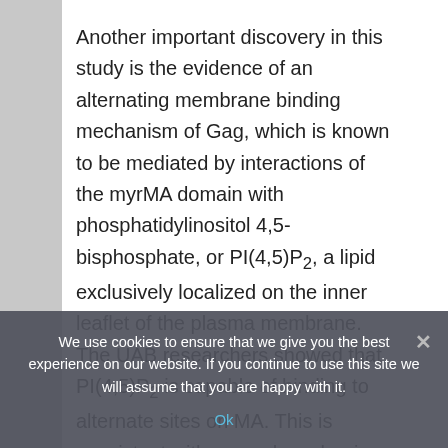Another important discovery in this study is the evidence of an alternating membrane binding mechanism of Gag, which is known to be mediated by interactions of the myrMA domain with phosphatidylinositol 4,5-bisphosphate, or PI(4,5)P2, a lipid exclusively localized on the inner leaflet of the plasma membrane. The UAB researchers showed that PI(4,5)P2 is capable of binding to alternate sites on MA. This is consistent with a novel mechanism of alternating MA membrane...
We use cookies to ensure that we give you the best experience on our website. If you continue to use this site we will assume that you are happy with it.